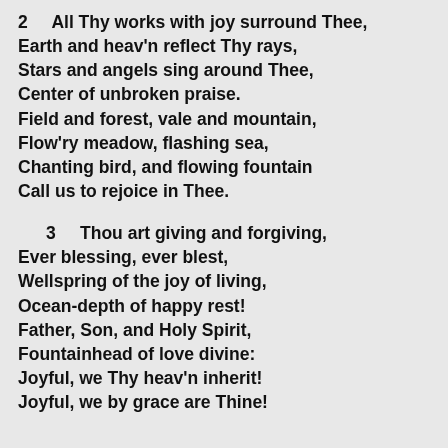2    All Thy works with joy surround Thee,
Earth and heav'n reflect Thy rays,
Stars and angels sing around Thee,
Center of unbroken praise.
Field and forest, vale and mountain,
Flow'ry meadow, flashing sea,
Chanting bird, and flowing fountain
Call us to rejoice in Thee.
3    Thou art giving and forgiving,
Ever blessing, ever blest,
Wellspring of the joy of living,
Ocean-depth of happy rest!
Father, Son, and Holy Spirit,
Fountainhead of love divine:
Joyful, we Thy heav'n inherit!
Joyful, we by grace are Thine!